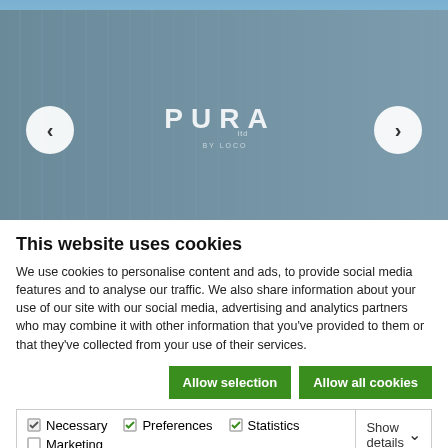[Figure (photo): Hero image showing a person in orange cycling gear with a helmet standing in front of a large grey industrial building with 'PURA' logo, blue sky background. Navigation arrows on left and right.]
This website uses cookies
We use cookies to personalise content and ads, to provide social media features and to analyse our traffic. We also share information about your use of our site with our social media, advertising and analytics partners who may combine it with other information that you've provided to them or that they've collected from your use of their services.
Allow selection | Allow all cookies
Necessary  Preferences  Statistics  Marketing  Show details